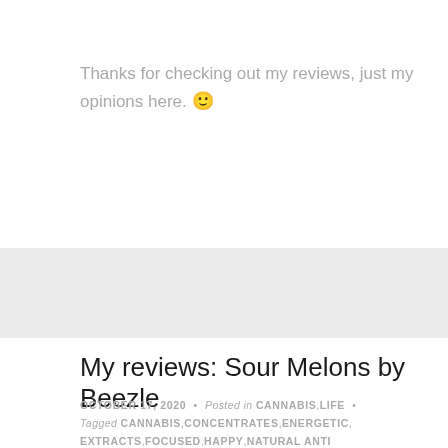Thanks for checking out my reviews, just my opinions here. 🙂
My reviews: Sour Melons by Beezle
OCTOBER 17, 2020 • Posted in CANNABIS, LIFE • Tagged CANNABIS, CONCENTRATES, ENERGETIC, EXTRACTS, FOCUSED, HAPPY, NATURAL ANTI DEPRESSANT, SATIVA HYBRID, SOUR DIESEL, SOUR MELONS, STIMULATING, UPLIFTING • LEAVE A